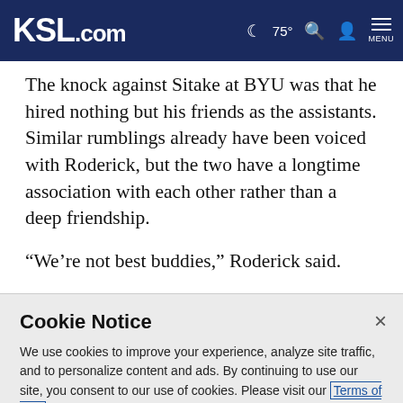KSL.com  🌙 75° 🔍 👤 MENU
The knock against Sitake at BYU was that he hired nothing but his friends as the assistants. Similar rumblings already have been voiced with Roderick, but the two have a longtime association with each other rather than a deep friendship.
“We’re not best buddies,” Roderick said.
Cookie Notice
We use cookies to improve your experience, analyze site traffic, and to personalize content and ads. By continuing to use our site, you consent to our use of cookies. Please visit our Terms of Use and  Privacy Policy for more information.